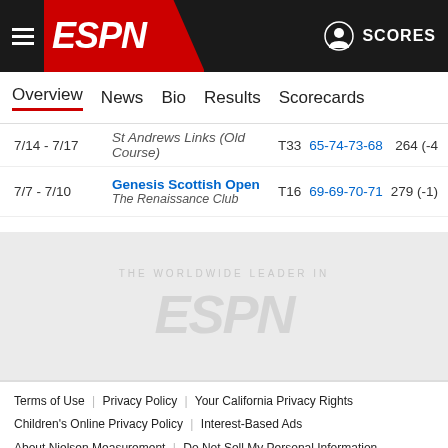ESPN - SCORES
Overview | News | Bio | Results | Scorecards
| Date | Event | Pos | Rounds | Score |
| --- | --- | --- | --- | --- |
| 7/14 - 7/17 | The Open Championship
St Andrews Links (Old Course) | T33 | 65-74-73-68 | 264 (-4) |
| 7/7 - 7/10 | Genesis Scottish Open
The Renaissance Club | T16 | 69-69-70-71 | 279 (-1) |
[Figure (logo): ESPN watermark logo in gray on gray background]
Terms of Use | Privacy Policy | Your California Privacy Rights | Children's Online Privacy Policy | Interest-Based Ads | About Nielsen Measurement | Do Not Sell My Personal Information | Contact Us | Disney Ad Sales Site | Work for ESPN
Copyright: © ESPN Enterprises, Inc. All rights reserved.